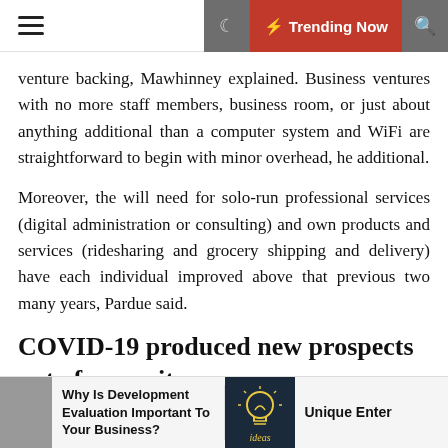☰  ☾  ⚡ Trending Now  🔍
venture backing, Mawhinney explained. Business ventures with no more staff members, business room, or just about anything additional than a computer system and WiFi are straightforward to begin with minor overhead, he additional.
Moreover, the will need for solo-run professional services (digital administration or consulting) and own products and services (ridesharing and grocery shipping and delivery) have each individual improved above that previous two many years, Pardue said.
COVID-19 produced new prospects out of necessity
Why Is Development Evaluation Important To Your Business?
Unique Enter